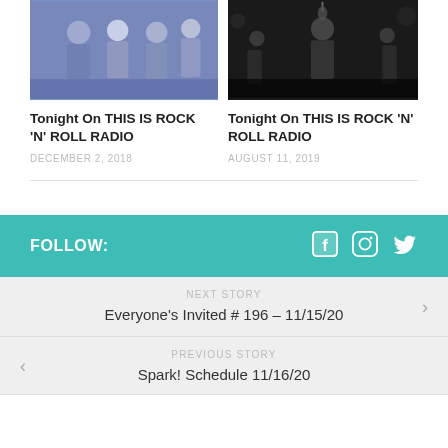[Figure (photo): Black and white photo of a music group/band standing together]
[Figure (photo): Black and white concert photo of a performer on stage with microphone]
Tonight On THIS IS ROCK 'N' ROLL RADIO
DECEMBER 2, 2018
Tonight On THIS IS ROCK 'N' ROLL RADIO
AUGUST 11, 2019
FOLLOW:
NEXT STORY
Everyone's Invited # 196 – 11/15/20
PREVIOUS STORY
Spark! Schedule 11/16/20